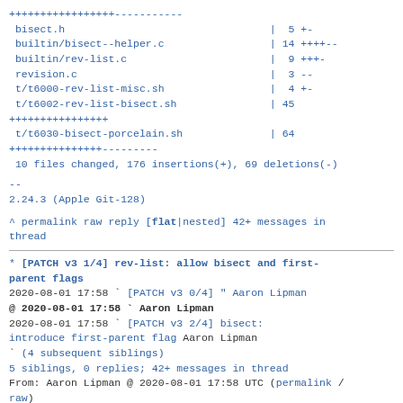+++++++++++++++++-----------
 bisect.h                                 |  5 +-
 builtin/bisect--helper.c                 | 14 ++++--
 builtin/rev-list.c                       |  9 +++-
 revision.c                               |  3 --
 t/t6000-rev-list-misc.sh                 |  4 +-
 t/t6002-rev-list-bisect.sh               | 45
++++++++++++++++
 t/t6030-bisect-porcelain.sh              | 64
+++++++++++++---------
 10 files changed, 176 insertions(+), 69 deletions(-)
--
2.24.3 (Apple Git-128)
^ permalink raw reply  [flat|nested] 42+ messages in thread
* [PATCH v3 1/4] rev-list: allow bisect and first-parent flags
  2020-08-01 17:58   ` [PATCH v3 0/4] " Aaron Lipman
@ 2020-08-01 17:58     ` Aaron Lipman
  2020-08-01 17:58     ` [PATCH v3 2/4] bisect: introduce first-parent flag Aaron Lipman
                       ` (4 subsequent siblings)
  5 siblings, 0 replies; 42+ messages in thread
From: Aaron Lipman @ 2020-08-01 17:58 UTC (permalink / raw)